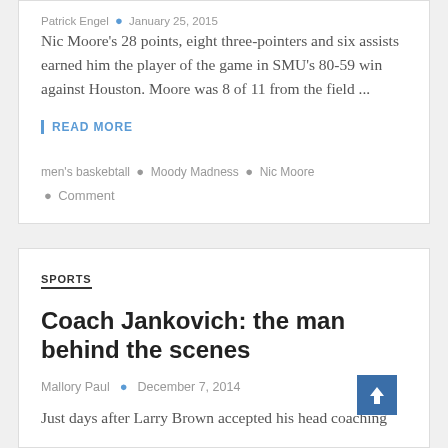Patrick Engel • January 25, 2015
Nic Moore's 28 points, eight three-pointers and six assists earned him the player of the game in SMU's 80-59 win against Houston. Moore was 8 of 11 from the field ...
READ MORE
men's baskebtall • Moody Madness • Nic Moore • Comment
SPORTS
Coach Jankovich: the man behind the scenes
Mallory Paul • December 7, 2014
Just days after Larry Brown accepted his head coaching